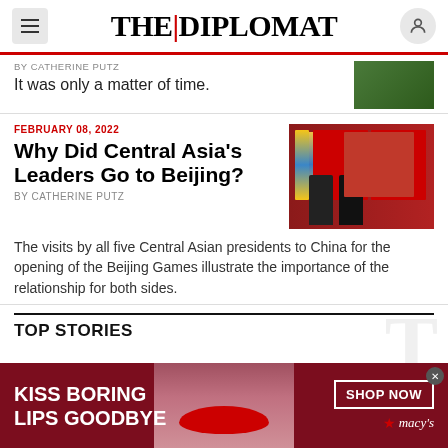THE | DIPLOMAT
By CATHERINE PUTZ
It was only a matter of time.
FEBRUARY 08, 2022
Why Did Central Asia's Leaders Go to Beijing?
By CATHERINE PUTZ
[Figure (photo): Two men in dark suits standing before Chinese and Kazakhstani flags]
The visits by all five Central Asian presidents to China for the opening of the Beijing Games illustrate the importance of the relationship for both sides.
TOP STORIES
[Figure (photo): Advertisement banner: KISS BORING LIPS GOODBYE with woman's face and red lips, SHOP NOW button and Macy's logo]